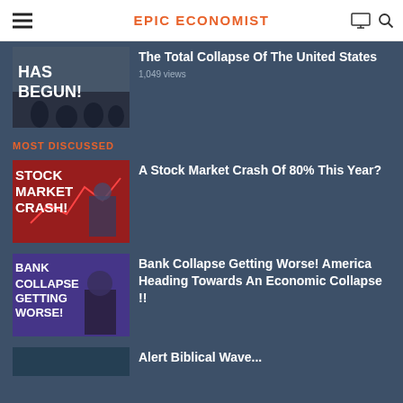EPIC ECONOMIST
[Figure (screenshot): Thumbnail image with text 'HAS BEGUN!' showing protest crowd]
...documenting The Total Collapse Of The United States
1,049 views
MOST DISCUSSED
[Figure (screenshot): Thumbnail with bold text STOCK MARKET CRASH! with red market graphics]
A Stock Market Crash Of 80% This Year?
[Figure (screenshot): Thumbnail with text BANK COLLAPSE GETTING WORSE! showing trader]
Bank Collapse Getting Worse! America Heading Towards An Economic Collapse !!
[Figure (screenshot): Thumbnail partially visible at bottom]
Alert Biblical Wave...